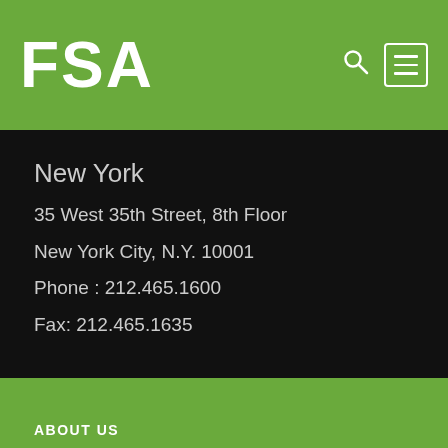FSA
New York
35 West 35th Street, 8th Floor
New York City, N.Y. 10001
Phone : 212.465.1600
Fax: 212.465.1635
ABOUT US